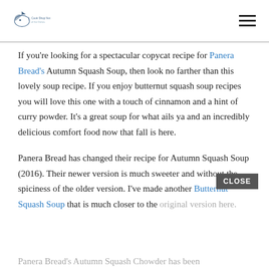[Logo: Cook Shop Nut of the Dishes] [Hamburger menu icon]
If you're looking for a spectacular copycat recipe for Panera Bread's Autumn Squash Soup, then look no farther than this lovely soup recipe. If you enjoy butternut squash soup recipes you will love this one with a touch of cinnamon and a hint of curry powder. It's a great soup for what ails ya and an incredibly delicious comfort food now that fall is here.
Panera Bread has changed their recipe for Autumn Squash Soup (2016). Their newer version is much sweeter and without the spiciness of the older version. I've made another Butternut Squash Soup that is much closer to the original version here.
Panera Bread's Autumn Squash Chowder has been